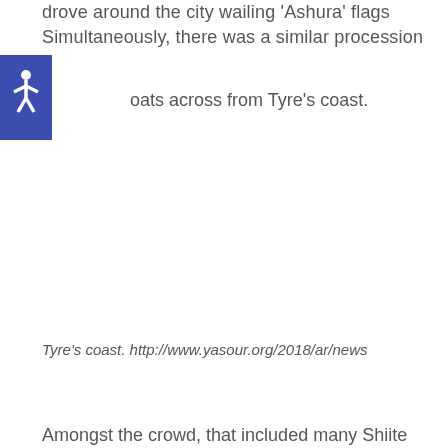drove around the city wailing 'Ashura' flags Simultaneously, there was a similar procession boats across from Tyre's coast.
[Figure (logo): Blue square with white wheelchair accessibility icon]
Tyre's coast. http://www.yasour.org/2018/ar/news
Amongst the crowd, that included many Shiite